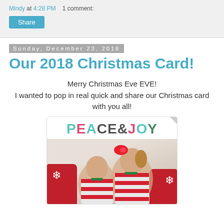Mindy at 4:28 PM   1 comment:
Share
Sunday, December 23, 2018
Our 2018 Christmas Card!
Merry Christmas Eve EVE!
I wanted to pop in real quick and share our Christmas card with you all!
[Figure (photo): Christmas card showing 'PEACE&JOY' text in colorful letters above a photo of two children and a baby in red and white striped pajamas sitting on a white bed with red pillows featuring snowflake designs]